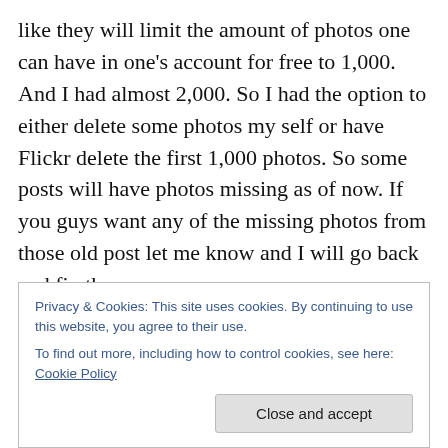like they will limit the amount of photos one can have in one's account for free to 1,000. And I had almost 2,000. So I had the option to either delete some photos my self or have Flickr delete the first 1,000 photos. So some posts will have photos missing as of now. If you guys want any of the missing photos from those old post let me know and I will go back and fix them.
Because of that I had to find another site that I could use and that would not have a size limitation. I thought I got lucky and would be able to use Google photos but it
Privacy & Cookies: This site uses cookies. By continuing to use this website, you agree to their use.
To find out more, including how to control cookies, see here: Cookie Policy
photos here easily and would not have a size limit.